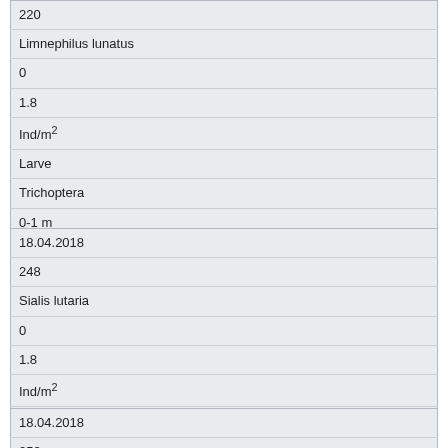| 220 |
| Limnephilus lunatus |
| 0 |
| 1.8 |
| Ind/m² |
| Larve |
| Trichoptera |
| 0-1 m |
| 18.04.2018 |
| 248 |
| Sialis lutaria |
| 0 |
| 1.8 |
| Ind/m² |
| Larve |
| Megaloptera |
| 0-1 m |
| 18.04.2018 |
| 252 |
| Centroptilum luteolum |